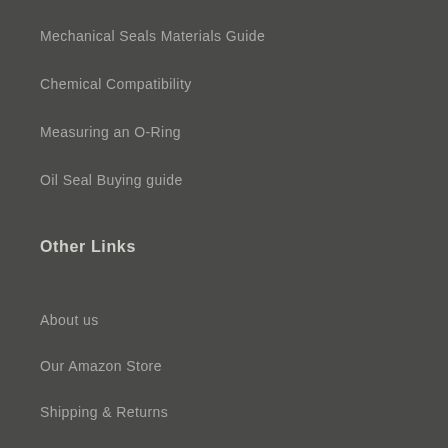Mechanical Seals Materials Guide
Chemical Compatibility
Measuring an O-Ring
Oil Seal Buying guide
Other Links
About us
Our Amazon Store
Shipping & Returns
User guides